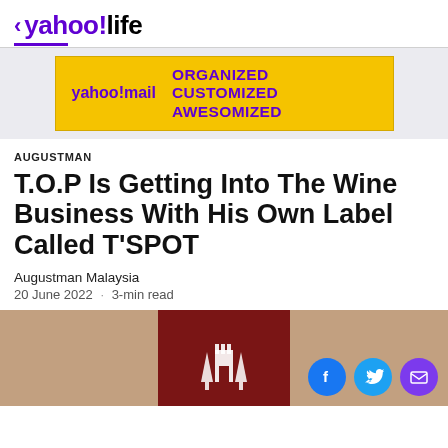< yahoo!life
[Figure (other): Yahoo Mail advertisement banner with yellow background reading ORGANIZED CUSTOMIZED AWESOMIZED]
AUGUSTMAN
T.O.P Is Getting Into The Wine Business With His Own Label Called T'SPOT
Augustman Malaysia
20 June 2022 · 3-min read
[Figure (photo): Partial image of a dark red wine label with a white emblem/crest on a beige/tan background]